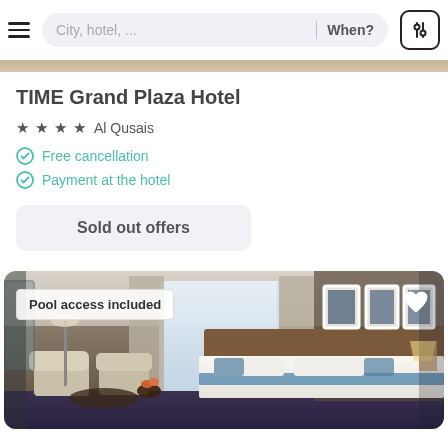City, hotel, ...  When?
[Figure (photo): Narrow horizontal strip showing top edge of a hotel exterior photo]
TIME Grand Plaza Hotel
★ ★ ★ ★  Al Qusais
Free cancellation
Payment at the hotel
Sold out offers
[Figure (photo): Hotel room interior showing a large bed with white linens, blue accent runner, sitting area with armchairs, floor lamp, large windows with drapes, and three framed artworks on the wall. A 'Pool access included' badge overlays the top-left corner and a heart icon is in the top-right.]